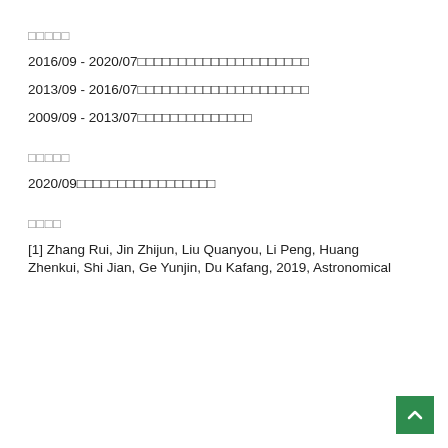□□□□□
2016/09 - 2020/07□□□□□□□□□□□□□□□□□□□□□
2013/09 - 2016/07□□□□□□□□□□□□□□□□□□□□□
2009/09 - 2013/07□□□□□□□□□□□□□□
□□□□□
2020/09□□□□□□□□□□□□□□□□□
□□□□
[1] Zhang Rui, Jin Zhijun, Liu Quanyou, Li Peng, Huang Zhenkui, Shi Jian, Ge Yunjin, Du Kafang, 2019, Astronomical